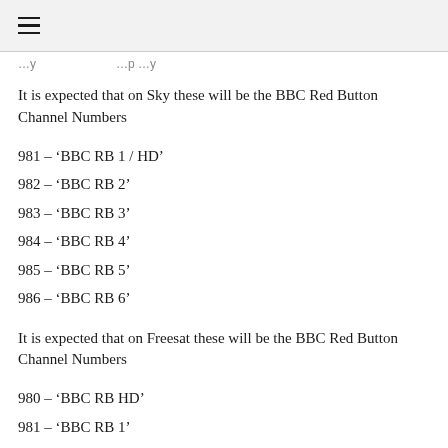≡
It is expected that on Sky these will be the BBC Red Button Channel Numbers
981 – 'BBC RB 1 / HD'
982 – 'BBC RB 2'
983 – 'BBC RB 3'
984 – 'BBC RB 4'
985 – 'BBC RB 5'
986 – 'BBC RB 6'
It is expected that on Freesat these will be the BBC Red Button Channel Numbers
980 – 'BBC RB HD'
981 – 'BBC RB 1'
982 – 'BBC RB 2'